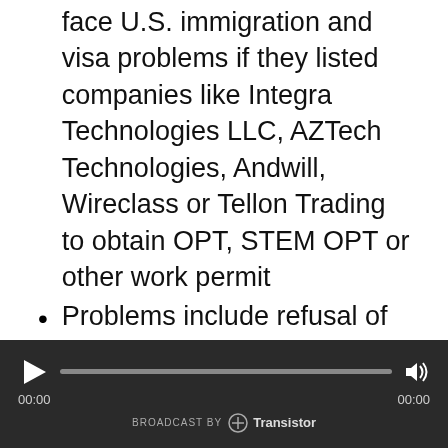face U.S. immigration and visa problems if they listed companies like Integra Technologies LLC, AZTech Technologies, Andwill, Wireclass or Tellon Trading to obtain OPT, STEM OPT or other work permit
Problems include refusal of entry to the US, visa denials, visa revocations, and denials of change/extension of status requests. In some cases, a 212(a)(6)(C)(i) charge is made.
4) 3 key indicators that the petitioner or employer may be flagged
[Figure (other): Audio player widget with dark background, play button, progress bar, volume icon, timestamps 00:00 on both sides, and Transistor broadcast branding at bottom.]